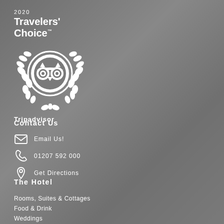[Figure (logo): TripAdvisor 2020 Travelers' Choice award logo with owl emblem and laurel wreath, white on grey background]
Contact Us
Email Us!
01207 592 000
Get Directions
The Hotel
Rooms, Suites & Cottages
Food & Drink
Weddings